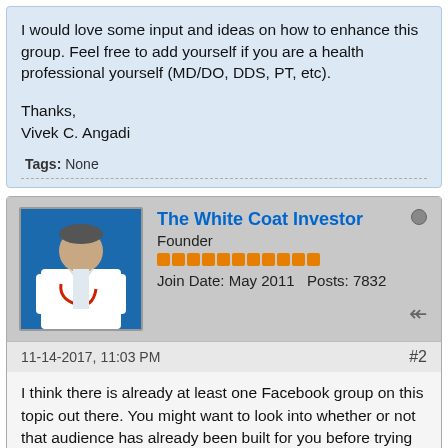I would love some input and ideas on how to enhance this group.  Feel free to add yourself if you are a health professional yourself (MD/DO, DDS, PT, etc).
Thanks,

Vivek C. Angadi
Tags: None
The White Coat Investor
Founder
Join Date: May 2011   Posts: 7832
11-14-2017, 11:03 PM
#2
I think there is already at least one Facebook group on this topic out there. You might want to look into whether or not that audience has already been built for you before trying to recreate the wheel.